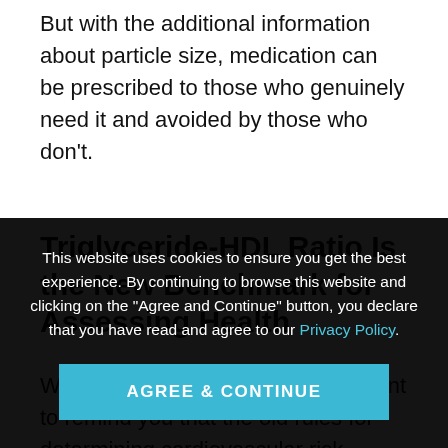But with the additional information about particle size, medication can be prescribed to those who genuinely need it and avoided by those who don't.
Triglyceride-HDL Ratio Is the New Benchmark for Assessing Health
While we're talking cholesterol, I want to remind you that the old rules for determining cardiovascular risk
This website uses cookies to ensure you get the best experience. By continuing to browse this website and clicking on the “Agree and Continue” button, you declare that you have read and agree to our Privacy Policy.
AGREE & CONTINUE